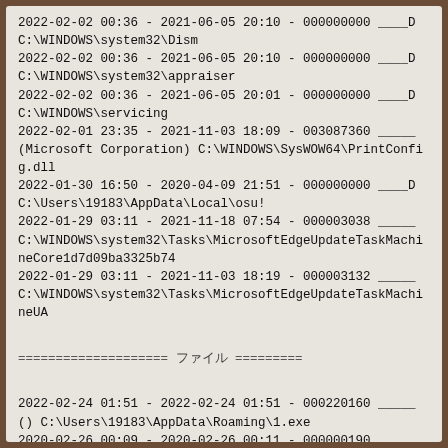2022-02-02 00:36 - 2021-06-05 20:10 - 000000000 ____D C:\WINDOWS\system32\Dism
2022-02-02 00:36 - 2021-06-05 20:10 - 000000000 ____D C:\WINDOWS\system32\appraiser
2022-02-02 00:36 - 2021-06-05 20:01 - 000000000 ____D C:\WINDOWS\servicing
2022-02-01 23:35 - 2021-11-03 18:09 - 003087360 _____ (Microsoft Corporation) C:\WINDOWS\SysWOW64\PrintConfig.dll
2022-01-30 16:50 - 2020-04-09 21:51 - 000000000 ____D C:\Users\19183\AppData\Local\osu!
2022-01-29 03:11 - 2021-11-18 07:54 - 000003038 _____ C:\WINDOWS\system32\Tasks\MicrosoftEdgeUpdateTaskMachineCore1d7d09ba3325b74
2022-01-29 03:11 - 2021-11-03 18:19 - 000003132 _____ C:\WINDOWS\system32\Tasks\MicrosoftEdgeUpdateTaskMachineUA
==================== ファイル ===========
2022-02-24 01:51 - 2022-02-24 01:51 - 000220160 _____ () C:\Users\19183\AppData\Roaming\1.exe
2020-02-26 00:09 - 2020-02-26 00:11 - 000000190 _____ () C:\Users\19183\AppData\Roaming\GlobalMgr.db